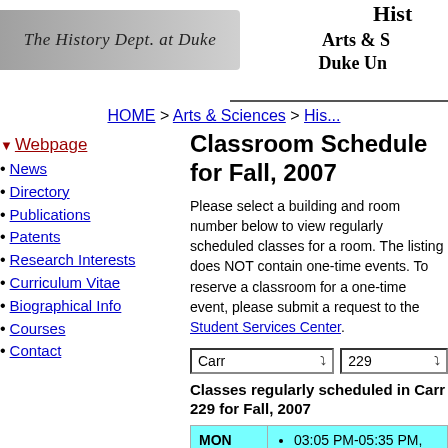[Figure (logo): The History Dept. at Duke logo banner with italic script text on grey gradient background]
Hist... Arts & S... Duke Un...
HOME > Arts & Sciences > His...
Webpage
News
Directory
Publications
Patents
Research Interests
Curriculum Vitae
Biographical Info
Courses
Contact
Classroom Schedule for Fall, 2007
Please select a building and room number below to view regularly scheduled classes for a room. The listing does NOT contain one-time events. To reserve a classroom for a one-time event, please submit a request to the Student Services Center.
Classes regularly scheduled in Carr 229 for Fall, 2007
| Day | Classes |
| --- | --- |
| MON | 03:05 PM-05:35 PM, HISTORY 197S.01, Raymond Gavins |